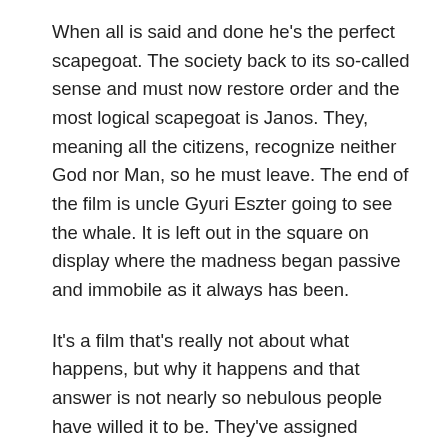When all is said and done he's the perfect scapegoat. The society back to its so-called sense and must now restore order and the most logical scapegoat is Janos. They, meaning all the citizens, recognize neither God nor Man, so he must leave. The end of the film is uncle Gyuri Eszter going to see the whale. It is left out in the square on display where the madness began passive and immobile as it always has been.
It's a film that's really not about what happens, but why it happens and that answer is not nearly so nebulous people have willed it to be. They've assigned meanings based on their